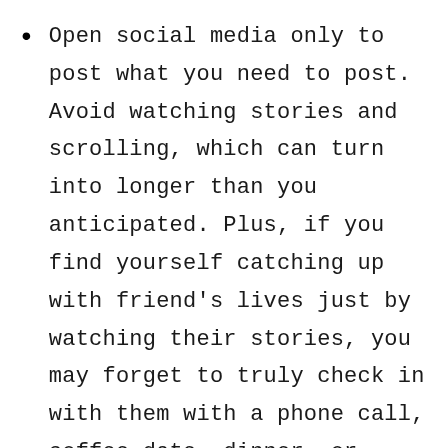Open social media only to post what you need to post. Avoid watching stories and scrolling, which can turn into longer than you anticipated. Plus, if you find yourself catching up with friend's lives just by watching their stories, you may forget to truly check in with them with a phone call, coffee date, dinner, or Facetime. After 2020, we became too dependent on social media to connect. Now it's time to disconnect so we can really connect with what matters.